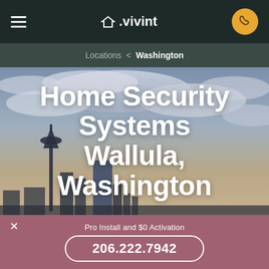≡  △.vivint  📞
Locations < Washington
Home Security Systems Wallula, Washington
Pro Install and $0 Activation
206.222.7942